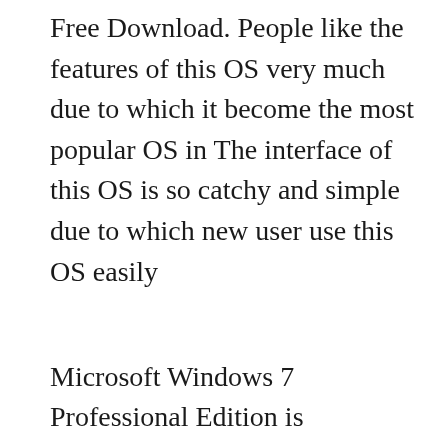Free Download. People like the features of this OS very much due to which it become the most popular OS in The interface of this OS is so catchy and simple due to which new user use this OS easily
Microsoft Windows 7 Professional Edition is